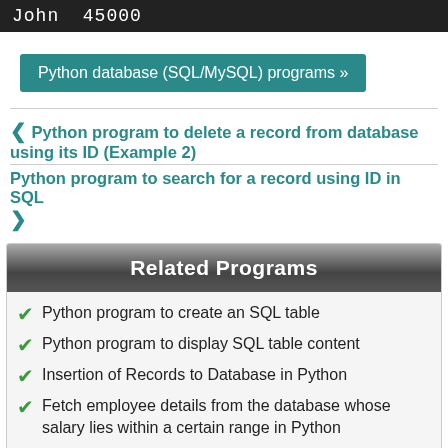John  45000
Python database (SQL/MySQL) programs »
❮ Python program to delete a record from database using its ID (Example 2)
Python program to search for a record using ID in SQL ❯
Related Programs
Python program to create an SQL table
Python program to display SQL table content
Insertion of Records to Database in Python
Fetch employee details from the database whose salary lies within a certain range in Python
Delete a Record from the Database in Python
Python program to delete a record from data...